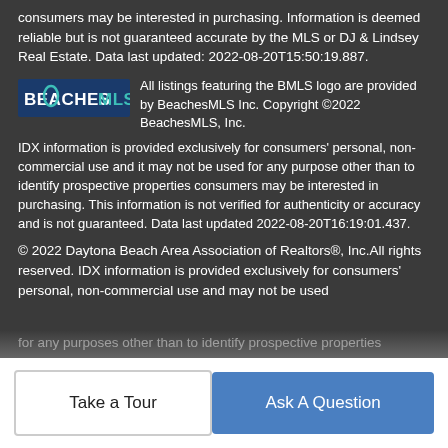consumers may be interested in purchasing. Information is deemed reliable but is not guaranteed accurate by the MLS or DJ & Lindsey Real Estate. Data last updated: 2022-08-20T15:50:19.887.
[Figure (logo): BeachesMLS logo — text logo with teal/green accents]
All listings featuring the BMLS logo are provided by BeachesMLS Inc. Copyright ©2022 BeachesMLS, Inc. IDX information is provided exclusively for consumers' personal, non-commercial use and it may not be used for any purpose other than to identify prospective properties consumers may be interested in purchasing. This information is not verified for authenticity or accuracy and is not guaranteed. Data last updated 2022-08-20T16:19:01.437.
© 2022 Daytona Beach Area Association of Realtors®, Inc.All rights reserved. IDX information is provided exclusively for consumers' personal, non-commercial use and may not be used for any purposes other than to identify prospective properties
Take a Tour
Ask A Question